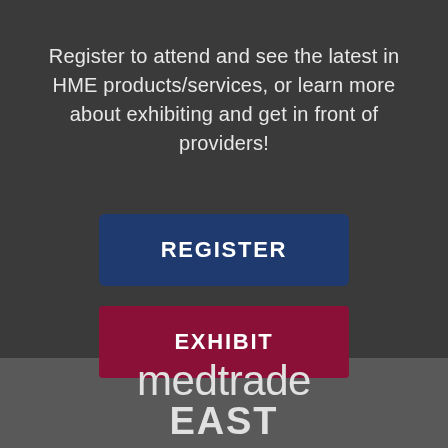Register to attend and see the latest in HME products/services, or learn more about exhibiting and get in front of providers!
[Figure (other): Blue button labeled REGISTER]
[Figure (other): Dark red/maroon button labeled EXHIBIT]
[Figure (logo): Medtrade East logo in white/light gray text on dark gray background, with 'medtrade' in light weight and 'EAST' in bold below]